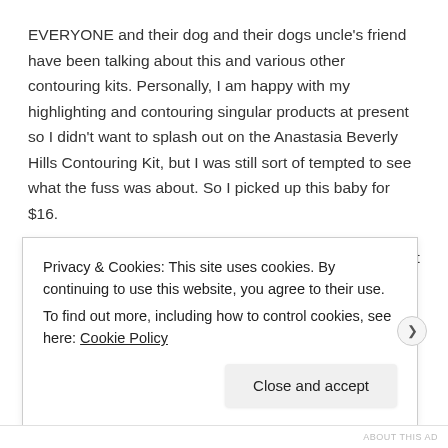EVERYONE and their dog and their dogs uncle's friend have been talking about this and various other contouring kits. Personally, I am happy with my highlighting and contouring singular products at present so I didn't want to splash out on the Anastasia Beverly Hills Contouring Kit, but I was still sort of tempted to see what the fuss was about. So I picked up this baby for $16.
The powders are quite powdery. Duh. But you know what I mean. They're also pretty pigmented which I like in a highlight but not so much in a bronzer. I've heard that they're super hard to blend out, I tried putting a heap on and blending it all out to test this theory and I do agree. However, I also found that if you're light with the brush
Privacy & Cookies: This site uses cookies. By continuing to use this website, you agree to their use.
To find out more, including how to control cookies, see here: Cookie Policy
Close and accept